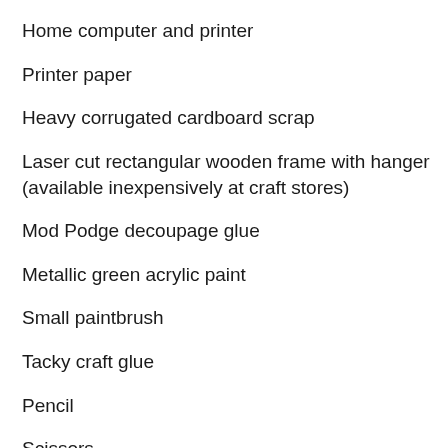Home computer and printer
Printer paper
Heavy corrugated cardboard scrap
Laser cut rectangular wooden frame with hanger (available inexpensively at craft stores)
Mod Podge decoupage glue
Metallic green acrylic paint
Small paintbrush
Tacky craft glue
Pencil
Scissors